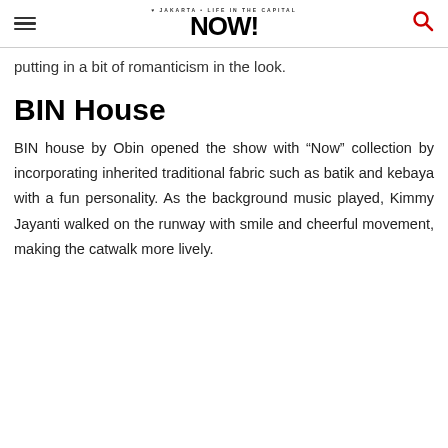Jakarta Now! (navigation header with hamburger menu, logo, and search icon)
putting in a bit of romanticism in the look.
BIN House
BIN house by Obin opened the show with “Now” collection by incorporating inherited traditional fabric such as batik and kebaya with a fun personality. As the background music played, Kimmy Jayanti walked on the runway with smile and cheerful movement, making the catwalk more lively.